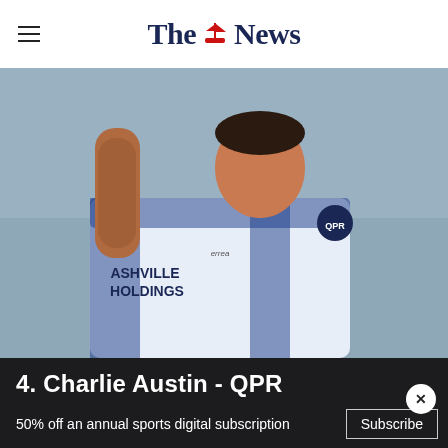The News
[Figure (photo): Football player Charlie Austin wearing a QPR white and blue Errea jersey with 'Ashville Holdings' sponsor, raising his right arm and smiling, with stadium seating in background]
4. Charlie Austin - QPR
50% off an annual sports digital subscription  Subscribe